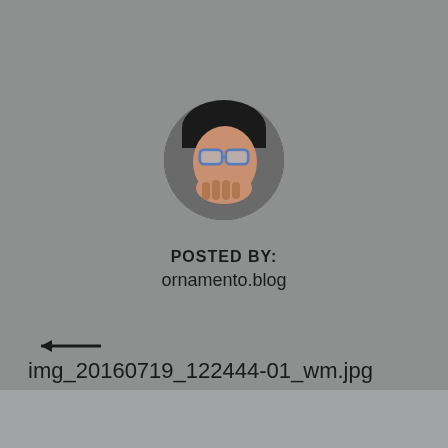[Figure (photo): Circular cropped profile photo of a person wearing glasses and a dark cap, hand near mouth]
POSTED BY:
ornamento.blog
[Figure (other): Left-pointing arrow]
img_20160719_122444-01_wm.jpg